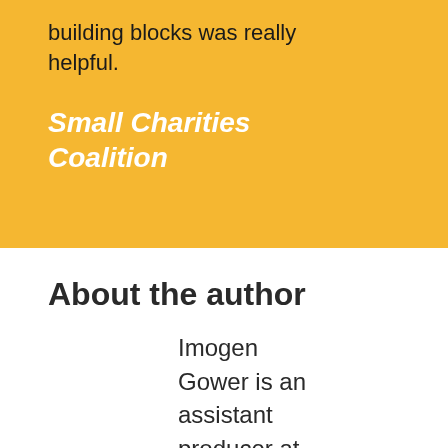building blocks was really helpful.
Small Charities Coalition
About the author
Imogen Gower is an assistant producer at Magneto, and she's